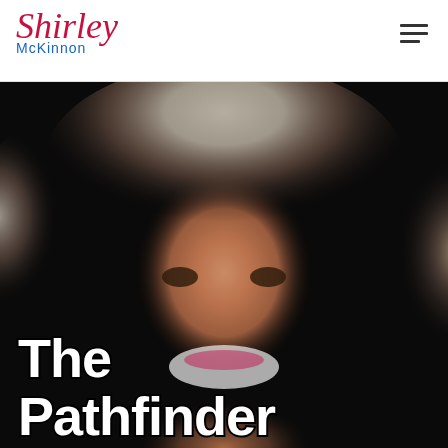Shirley McKinnon
[Figure (photo): Close-up portrait photo of a smiling woman with gray and blonde hair against a dark black background, with 'The Pathfinder' text overlaid in the lower left corner.]
The Pathfinder